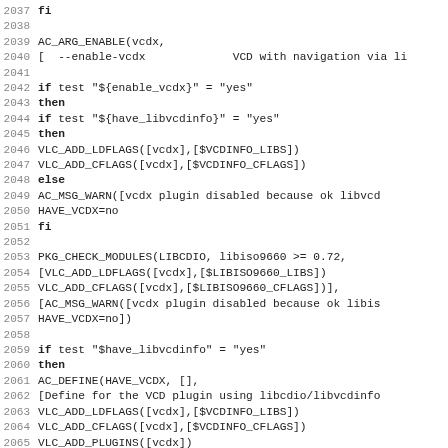Code snippet showing shell/autoconf script lines 2037-2068, including AC_ARG_ENABLE, VLC_ADD_LDFLAGS, VLC_ADD_CFLAGS, PKG_CHECK_MODULES, AC_DEFINE, VLC_ADD_PLUGINS, AC_MSG_WARN for vcdx plugin configuration.